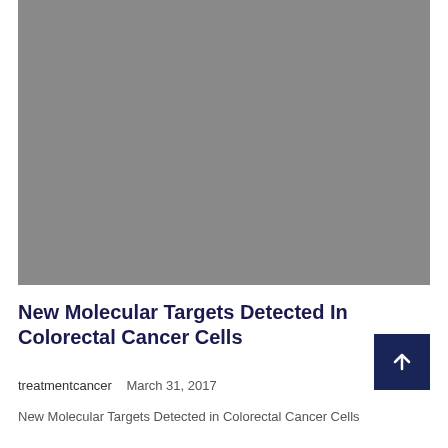[Figure (photo): A large grey placeholder image occupying the top portion of the page]
New Molecular Targets Detected In Colorectal Cancer Cells
treatmentcancer   March 31, 2017
New Molecular Targets Detected in Colorectal Cancer Cells